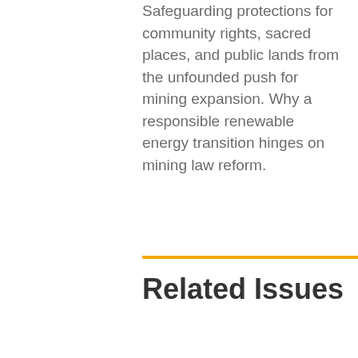Safeguarding protections for community rights, sacred places, and public lands from the unfounded push for mining expansion. Why a responsible renewable energy transition hinges on mining law reform.
Related Issues